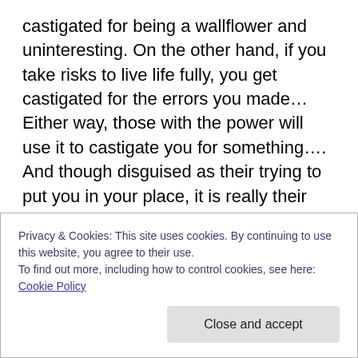castigated for being a wallflower and uninteresting. On the other hand, if you take risks to live life fully, you get castigated for the errors you made… Either way, those with the power will use it to castigate you for something…. And though disguised as their trying to put you in your place, it is really their effective attempt to prove to others they wield power…

Today's Senate voted overwhelmingly to continue the FISA Admendments Act. Like ACTA or CISPA or any other internet freedom restricting acts, had opposition been
Privacy & Cookies: This site uses cookies. By continuing to use this website, you agree to their use.
To find out more, including how to control cookies, see here: Cookie Policy
Close and accept